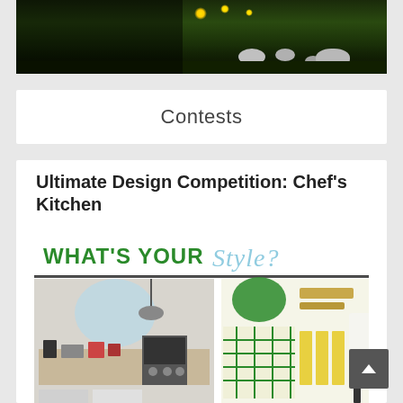[Figure (photo): Nighttime outdoor garden scene with illuminated yellow globe lights and white rocks, dark green landscaping background]
Contests
Ultimate Design Competition: Chef's Kitchen
[Figure (infographic): Design competition entry image with 'WHAT'S YOUR Style?' header, showing two kitchen design styles: Modern Farmhouse by Designer Kendall Ansell and Artistic Balance by Designer Jacklyne Little, with text 'VOTE FOR A CHANCE TO WIN AT www.CanadianHomeTrends.com/WIN']